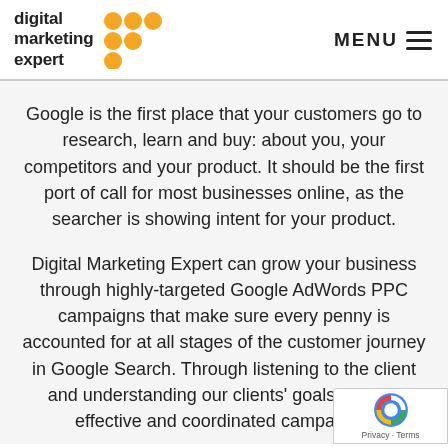[Figure (logo): Digital Marketing Expert logo with orange dot grid and text]
Google is the first place that your customers go to research, learn and buy: about you, your competitors and your product. It should be the first port of call for most businesses online, as the searcher is showing intent for your product.
Digital Marketing Expert can grow your business through highly-targeted Google AdWords PPC campaigns that make sure every penny is accounted for at all stages of the customer journey in Google Search. Through listening to the client and understanding our clients' goals, DME b effective and coordinated campaigns.